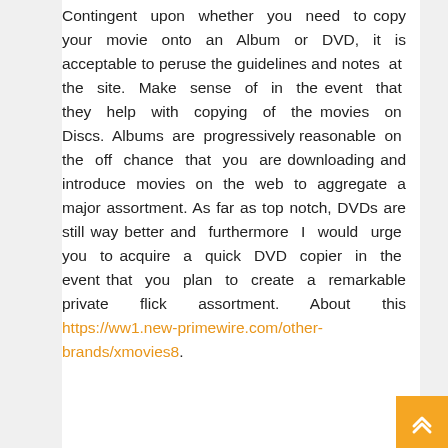Contingent upon whether you need to copy your movie onto an Album or DVD, it is acceptable to peruse the guidelines and notes at the site. Make sense of in the event that they help with copying of the movies on Discs. Albums are progressively reasonable on the off chance that you are downloading and introduce movies on the web to aggregate a major assortment. As far as top notch, DVDs are still way better and furthermore I would urge you to acquire a quick DVD copier in the event that you plan to create a remarkable private flick assortment. About this https://ww1.new-primewire.com/other-brands/xmovies8.